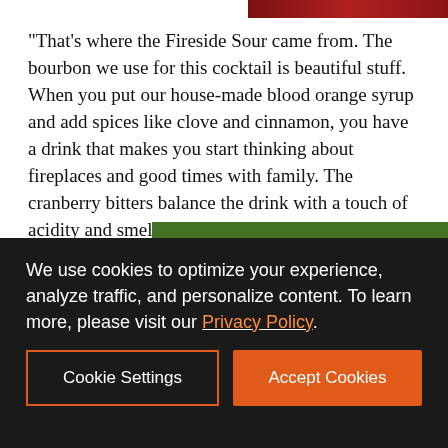[Figure (photo): Partial photo at top right corner, showing dark red/crimson flowers or berries]
“That’s where the Fireside Sour came from. The bourbon we use for this cocktail is beautiful stuff. When you put our house-made blood orange syrup and add spices like clove and cinnamon, you have a drink that makes you start thinking about fireplaces and good times with family. The cranberry bitters balance the drink with a touch of acidity and smell like T…
[Figure (photo): Advertisement for Earthtone Construction showing purple wildflowers with a butterfly. Text reads: Mindful Building, Earthtone CONSTRUCTION, Learn more >, UC.744848]
Firesi…
We use cookies to optimize your experience, analyze traffic, and personalize content. To learn more, please visit our Privacy Policy.
Cookie Settings
Accept Cookies